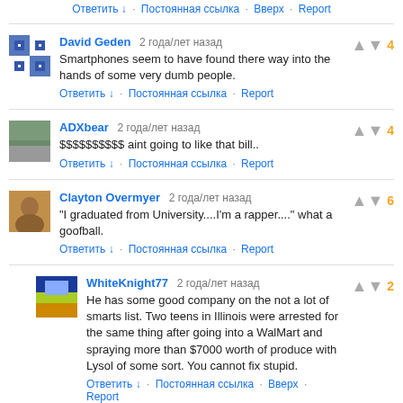Ответить ↓ · Постоянная ссылка · Вверх · Report
David Geden  2 года/лет назад
Smartphones seem to have found there way into the hands of some very dumb people.
Ответить ↓ · Постоянная ссылка · Report
[votes: 4]
ADXbear  2 года/лет назад
$$$$$$$$$$ aint going to like that bill..
Ответить ↓ · Постоянная ссылка · Report
[votes: 4]
Clayton Overmyer  2 года/лет назад
"I graduated from University....I'm a rapper...." what a goofball.
Ответить ↓ · Постоянная ссылка · Report
[votes: 6]
WhiteKnight77  2 года/лет назад
He has some good company on the not a lot of smarts list. Two teens in Illinois were arrested for the same thing after going into a WalMart and spraying more than $7000 worth of produce with Lysol of some sort. You cannot fix stupid.
Ответить ↓ · Постоянная ссылка · Вверх · Report
[votes: 2]